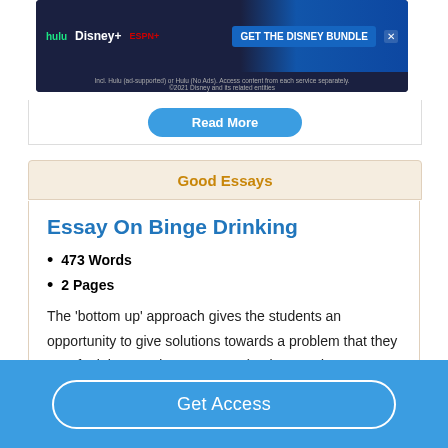[Figure (screenshot): Disney Bundle advertisement banner with Hulu, Disney+, ESPN+ logos and 'GET THE DISNEY BUNDLE' call to action button]
Read More
Good Essays
Essay On Binge Drinking
473 Words
2 Pages
The 'bottom up' approach gives the students an opportunity to give solutions towards a problem that they may feel that needs awareness (Larimer and Cornce, 2002). The gap in this literature is the lack of knowledge of binge
Get Access